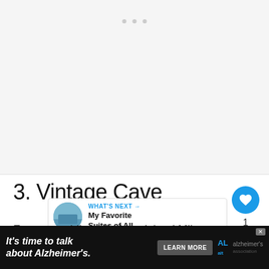[Figure (photo): Large image placeholder area with light grey background; three small grey pagination dots near the top center]
3. Vintage Cave
For my wedding gift, Mrs. Island Miler tre… the ultra-exclusive Vintage Cave in Honolulu.
[Figure (infographic): WHAT'S NEXT callout box with circular thumbnail photo and text 'My Favorite Suites of All...']
[Figure (infographic): Advertisement bar: 'It's time to talk about Alzheimer's.' with LEARN MORE button and Alzheimer's Association logo]